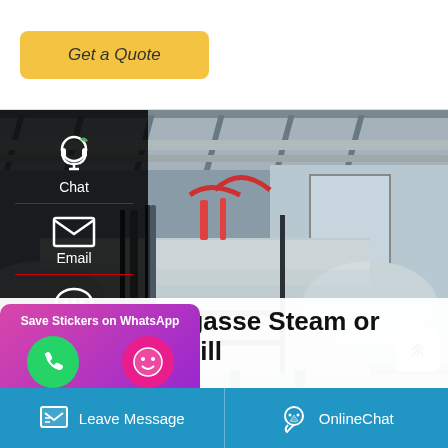Get a Quote
[Figure (photo): Industrial steam boiler in a factory — large silver cylindrical boiler with pipes and metal framework in a warehouse setting]
Chat
Email
Contact
Save Stickers on WhatsApp
Sugarcane Bagasse Steam or Boiler In Sugar Mill
...d for 1 ton steam generation
Leave Message
OnlineChat